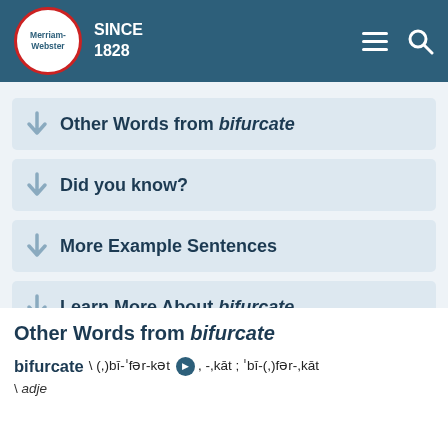Merriam-Webster SINCE 1828
Other Words from bifurcate
Did you know?
More Example Sentences
Learn More About bifurcate
Other Words from bifurcate
bifurcate \ (,)bī-ˈfər-kət [speaker] , -,kāt ; ˈbī-(,)fər-,kāt \ adje